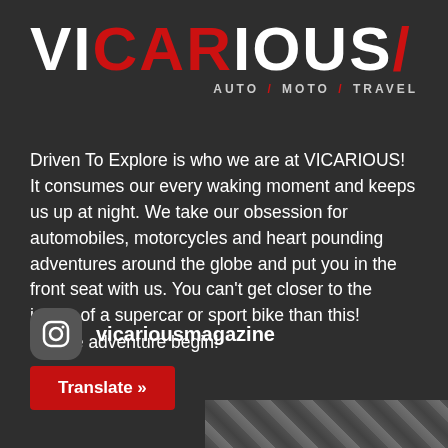[Figure (logo): VICARIOUS logo with white and red lettering, subtitle AUTO / MOTO / TRAVEL]
Driven To Explore is who we are at VICARIOUS! It consumes our every waking moment and keeps us up at night. We take our obsession for automobiles, motorcycles and heart pounding adventures around the globe and put you in the front seat with us. You can't get closer to the inside of a supercar or sport bike than this!
Let the adventure begin!
vicariousmagazine
Translate »